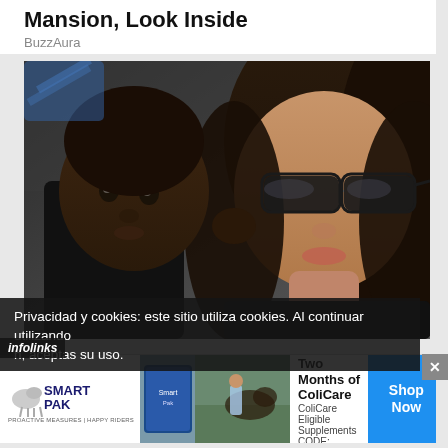Mansion, Look Inside
BuzzAura
[Figure (photo): Close-up photo of a woman wearing dark sunglasses with long brown hair, holding a young Black child dressed in dark clothing.]
Privacidad y cookies: este sitio utiliza cookies. Al continuar utilizando h, aceptas su uso.
infolinks
[Figure (infographic): SmartPak advertisement banner: 50% Off Two Months of ColiCare, ColiCare Eligible Supplements, CODE: COLICARE10, Shop Now button. Features SmartPak logo and image of a person with a horse.]